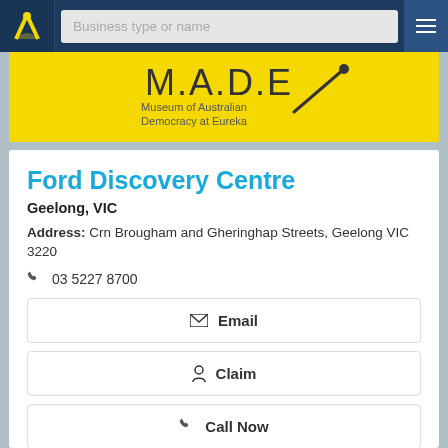[Figure (screenshot): Navigation bar with logo, search field placeholder 'Business type or name', and hamburger menu on dark blue background]
[Figure (logo): M.A.D.E - Museum of Australian Democracy at Eureka logo on yellow background]
Ford Discovery Centre
Geelong, VIC
Address: Crn Brougham and Gheringhap Streets, Geelong VIC 3220
03 5227 8700
Email
Claim
Call Now